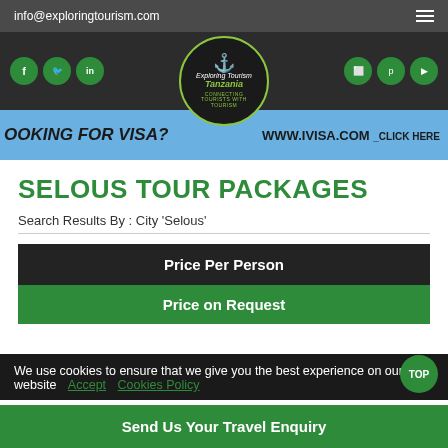info@exploringtourism.com
[Figure (logo): Exploring Tourism Tanzania logo — circular badge with hiker icon, green circle border, dark background, text 'Exploring Tourism Tanzania' and 'Connecting Tourists With Tourism']
[Figure (infographic): Blue banner: 'OOKING FOR VISA? WWW.IVISA.COM _CLICK HERE']
SELOUS TOUR PACKAGES
Search Results By : City 'Selous'
| Price Per Person |
| --- |
| Price on Request |
We use cookies to ensure that we give you the best experience on our website  Accept  Cookies Policy
Send Us Your Travel Enquiry